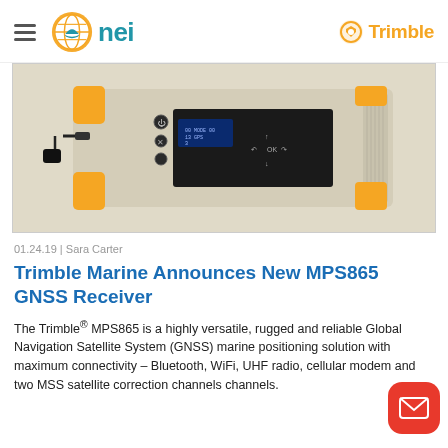nei | Trimble
[Figure (photo): Close-up photo of the Trimble MPS865 GNSS Receiver — a rugged beige/tan unit with yellow corner protectors, a small OLED display, control buttons, and various ports on the front panel.]
01.24.19 | Sara Carter
Trimble Marine Announces New MPS865 GNSS Receiver
The Trimble® MPS865 is a highly versatile, rugged and reliable Global Navigation Satellite System (GNSS) marine positioning solution with maximum connectivity – Bluetooth, WiFi, UHF radio, cellular modem and two MSS satellite correction channels channels.